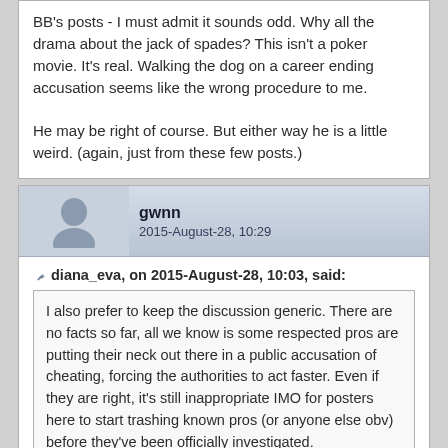BB's posts - I must admit it sounds odd. Why all the drama about the jack of spades? This isn't a poker movie. It's real. Walking the dog on a career ending accusation seems like the wrong procedure to me.

He may be right of course. But either way he is a little weird. (again, just from these few posts.)
gwnn
2015-August-28, 10:29
diana_eva, on 2015-August-28, 10:03, said:
I also prefer to keep the discussion generic. There are no facts so far, all we know is some respected pros are putting their neck out there in a public accusation of cheating, forcing the authorities to act faster. Even if they are right, it's still inappropriate IMO for posters here to start trashing known pros (or anyone else obv) before they've been officially investigated.
What's the problem with this? They are known pros, as you said. Are football fans also supposed to say "I think your favourite team has a